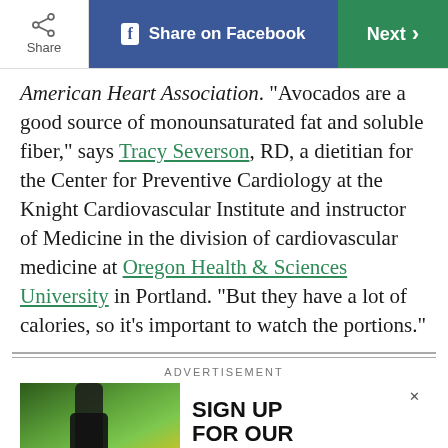Share | Share on Facebook | Next
American Heart Association. “Avocados are a good source of monounsaturated fat and soluble fiber,” says Tracy Severson, RD, a dietitian for the Center for Preventive Cardiology at the Knight Cardiovascular Institute and instructor of Medicine in the division of cardiovascular medicine at Oregon Health & Sciences University in Portland. “But they have a lot of calories, so it’s important to watch the portions.”
ADVERTISEMENT
[Figure (photo): Advertisement banner showing a person's legs in athletic wear with green outdoor background, and text 'SIGN UP FOR OUR' on white area to the right]